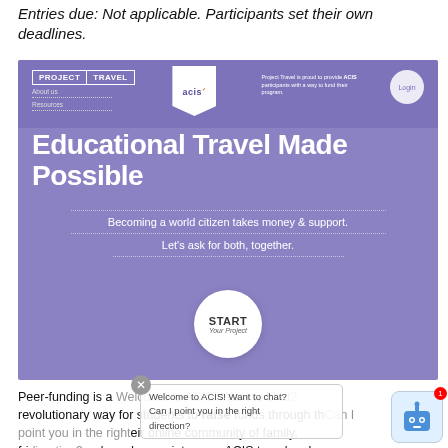Entries due: Not applicable. Participants set their own deadlines.
[Figure (screenshot): Screenshot of the ACIS Project Travel website showing a purple banner with the headline 'Educational Travel Made Possible', navigation bar with PROJECT and TRAVEL buttons, ACIS logo, a Login button, text 'Becoming a world citizen takes money & support. Let's ask for both, together.' and a START Your Project circular button.]
Peer-funding is a revolutionary way for students to raise funds through their online community of family, friends and acquaintances. ACIS travelers have a unique
Welcome to ACIS! Want to chat? Can I point you in the right direction?